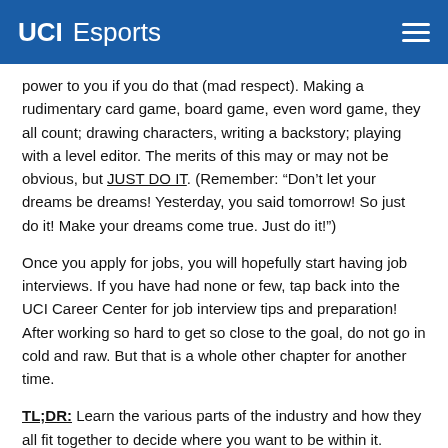UCI Esports
power to you if you do that (mad respect). Making a rudimentary card game, board game, even word game, they all count; drawing characters, writing a backstory; playing with a level editor. The merits of this may or may not be obvious, but JUST DO IT. (Remember: “Don’t let your dreams be dreams! Yesterday, you said tomorrow! So just do it! Make your dreams come true. Just do it!”)
Once you apply for jobs, you will hopefully start having job interviews. If you have had none or few, tap back into the UCI Career Center for job interview tips and preparation! After working so hard to get so close to the goal, do not go in cold and raw. But that is a whole other chapter for another time.
TL;DR: Learn the various parts of the industry and how they all fit together to decide where you want to be within it.